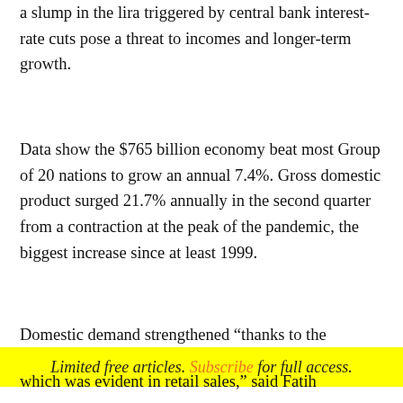a slump in the lira triggered by central bank interest-rate cuts pose a threat to incomes and longer-term growth.
Data show the $765 billion economy beat most Group of 20 nations to grow an annual 7.4%. Gross domestic product surged 21.7% annually in the second quarter from a contraction at the peak of the pandemic, the biggest increase since at least 1999.
Domestic demand strengthened “thanks to the
Limited free articles. Subscribe for full access.
which was evident in retail sales,” said Fatih